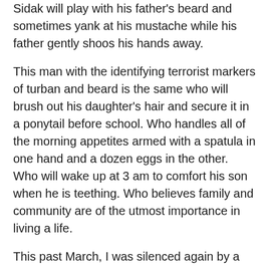Sidak will play with his father's beard and sometimes yank at his mustache while his father gently shoos his hands away.
This man with the identifying terrorist markers of turban and beard is the same who will brush out his daughter's hair and secure it in a ponytail before school. Who handles all of the morning appetites armed with a spatula in one hand and a dozen eggs in the other. Who will wake up at 3 am to comfort his son when he is teething. Who believes family and community are of the utmost importance in living a life.
This past March, I was silenced again by a report stating that two elderly Sikh men on an afternoon stroll in Elk Grove were shot multiple times. Surinder Singh, 65, died on the sidewalk that afternoon and Gurmej Atwal, 78, died the following month. The FBI and the Elk Grove police have categorized the murders as a